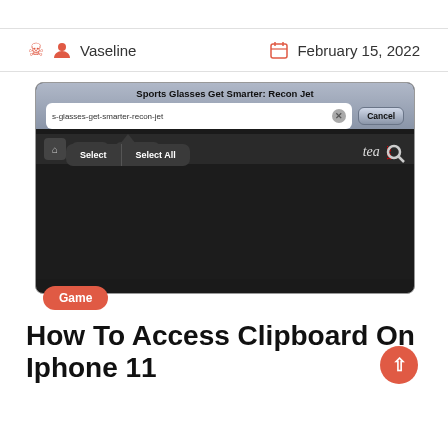Vaseline   February 15, 2022
[Figure (screenshot): iOS screenshot showing a browser address bar with text 's-glasses-get-smarter-recon-jet' and a text selection popup with 'Select' and 'Select All' buttons, with navigation tabs showing News and Internet at the bottom]
Game
How To Access Clipboard On Iphone 11